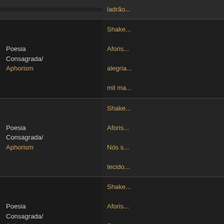| Category | Content |
| --- | --- |
|  | ladrão... |
| Poesia Consagrada/Aphorism | Shakespeare / Aforismo / alegria / mil ma... |
| Poesia Consagrada/Aphorism | Shakespeare / Aforismo / Nós s... / tecido... |
| Poesia Consagrada/Aphorism | Shakespeare / Aforismo / Ser / ser... |
| Poesia Consagrada/Aphorism | Shakespeare / Aforismo / Contra... / prome... / com ... |
| Poesia Consagrada/Aphorism | Shakespeare / Aforismo / paixõe... / ensina... |
|  | Shake... |